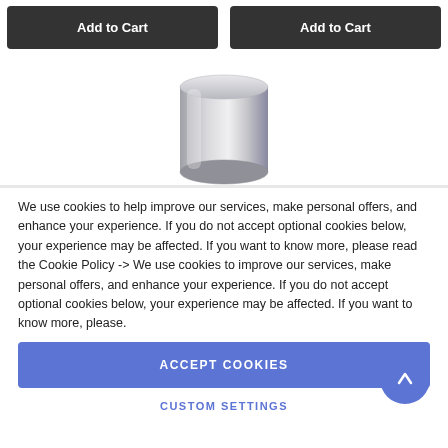[Figure (screenshot): Two 'Add to Cart' buttons side by side with dark background]
[Figure (illustration): A silver metallic cylinder product image centered on white background]
We use cookies to help improve our services, make personal offers, and enhance your experience. If you do not accept optional cookies below, your experience may be affected. If you want to know more, please read the Cookie Policy -> We use cookies to improve our services, make personal offers, and enhance your experience. If you do not accept optional cookies below, your experience may be affected. If you want to know more, please.
ACCEPT COOKIES
CUSTOM SETTINGS